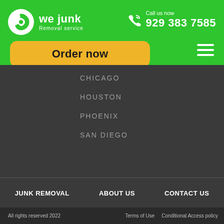[Figure (logo): We Junk Removal Service logo with spiral icon on green background]
Call us now
929 383 7585
Order now
CHICAGO
HOUSTON
PHOENIX
SAN DIEGO
JUNK REMOVAL
ABOUT US
CONTACT US
All rights reserved 2022   Terms of Use   Conditional Access policy